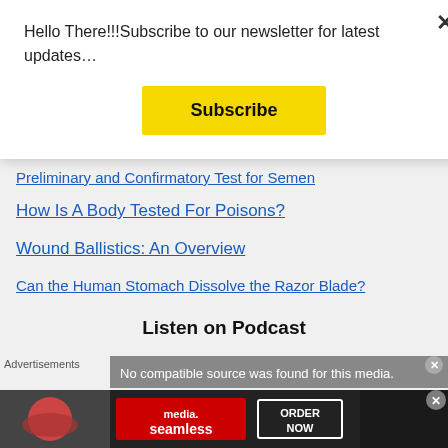Hello There!!!Subscribe to our newsletter for latest updates…
Subscribe
Preliminary and Confirmatory Test for Semen
How Is A Body Tested For Poisons?
Wound Ballistics: An Overview
Can the Human Stomach Dissolve the Razor Blade?
Listen on Podcast
Advertisements No compatible source was found for this media.
[Figure (screenshot): Seamless food delivery advertisement banner with ORDER NOW button]